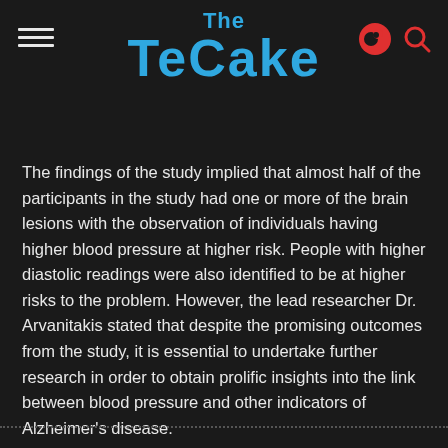The TeCake
The findings of the study implied that almost half of the participants in the study had one or more of the brain lesions with the observation of individuals having higher blood pressure at higher risk. People with higher diastolic readings were also identified to be at higher risks to the problem. However, the lead researcher Dr. Arvanitakis stated that despite the promising outcomes from the study, it is essential to undertake further research in order to obtain prolific insights into the link between blood pressure and other indicators of Alzheimer's disease.